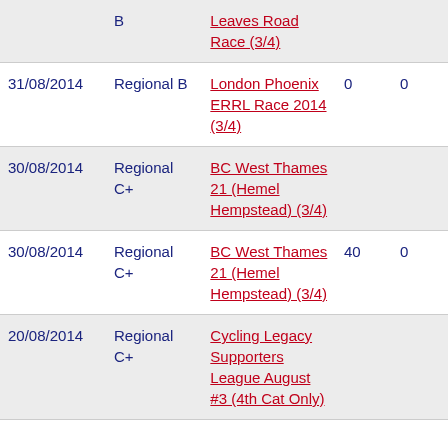| Date | Category | Event | Col1 | Col2 |
| --- | --- | --- | --- | --- |
|  | B | Leaves Road Race (3/4) |  |  |
| 31/08/2014 | Regional B | London Phoenix ERRL Race 2014 (3/4) | 0 | 0 |
| 30/08/2014 | Regional C+ | BC West Thames 21 (Hemel Hempstead) (3/4) |  |  |
| 30/08/2014 | Regional C+ | BC West Thames 21 (Hemel Hempstead) (3/4) | 40 | 0 |
| 20/08/2014 | Regional C+ | Cycling Legacy Supporters League August #3 (4th Cat Only) |  |  |